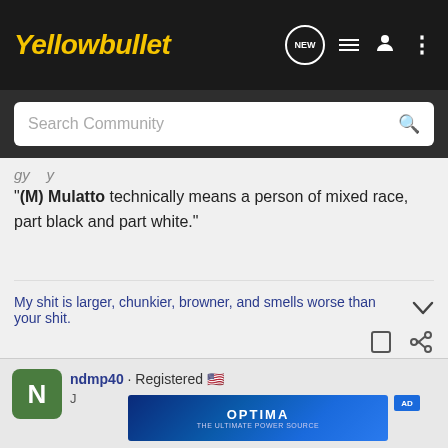Yellowbullet — NEW, list, user, menu icons
Search Community
(partial cropped text line)
"(M) Mulatto technically means a person of mixed race, part black and part white."
My shit is larger, chunkier, browner, and smells worse than your shit.
ndmp40 · Registered
[Figure (screenshot): Optima Batteries advertisement banner with blue background]